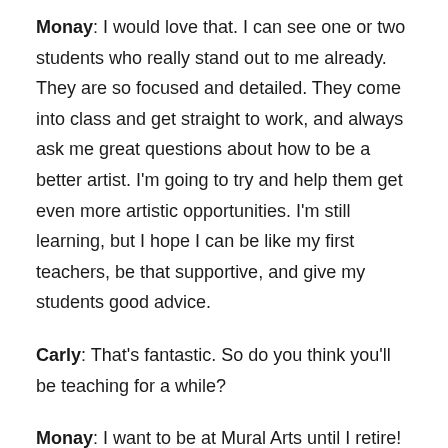Monay: I would love that. I can see one or two students who really stand out to me already. They are so focused and detailed. They come into class and get straight to work, and always ask me great questions about how to be a better artist. I'm going to try and help them get even more artistic opportunities. I'm still learning, but I hope I can be like my first teachers, be that supportive, and give my students good advice.
Carly: That's fantastic. So do you think you'll be teaching for a while?
Monay: I want to be at Mural Arts until I retire! And I'm only kidding a little bit – I really love working here and I want to for many, many years. I also want to be open to